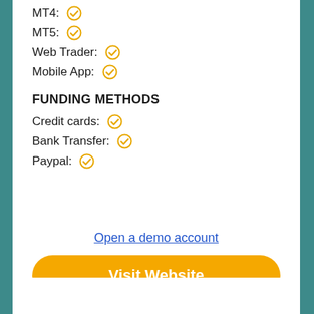MT4: ✓
MT5: ✓
Web Trader: ✓
Mobile App: ✓
FUNDING METHODS
Credit cards: ✓
Bank Transfer: ✓
Paypal: ✓
Open a demo account
Visit Website